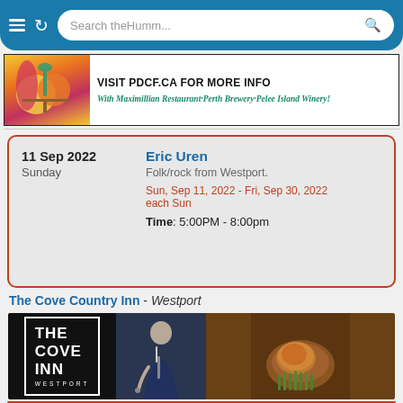[Figure (screenshot): Mobile browser navigation bar with hamburger menu, reload button, and search field showing 'Search theHumm...']
[Figure (infographic): Advertisement banner: 'VISIT PDCF.CA FOR MORE INFO' with colourful graphic on left and text 'With Maximillian Restaurant·Perth Brewery·Pelee Island Winery!']
11 Sep 2022
Sunday
Eric Uren
Folk/rock from Westport.
Sun, Sep 11, 2022 - Fri, Sep 30, 2022
each Sun
Time: 5:00PM - 8:00pm
The Cove Country Inn - Westport
[Figure (photo): Photo collage: The Cove Inn Westport logo on black background, performer playing guitar on stage, grilled chicken with asparagus dish, hotel room with bed and window]